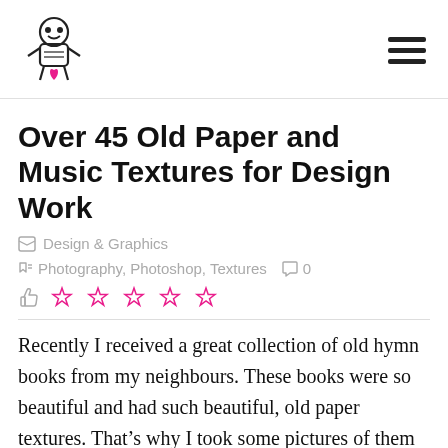[Figure (logo): Robot/mechanical figure with pink heart logo]
Over 45 Old Paper and Music Textures for Design Work
Design & Graphics
Photography, Photoshop, Textures  0
☆ ☆ ☆ ☆ ☆
Recently I received a great collection of old hymn books from my neighbours. These books were so beautiful and had such beautiful, old paper textures. That's why I took some pictures of them